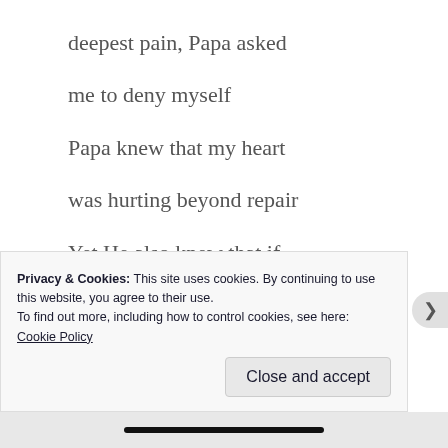deepest pain, Papa asked
me to deny myself
Papa knew that my heart
was hurting beyond repair
Yet He also knew that if
I would allow this crisis to
draw me closer to Him
Privacy & Cookies: This site uses cookies. By continuing to use this website, you agree to their use.
To find out more, including how to control cookies, see here: Cookie Policy
Close and accept